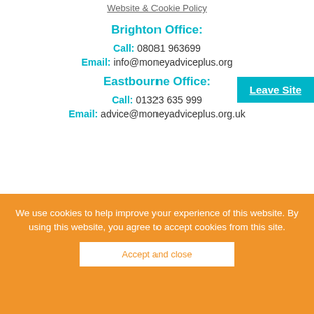Website & Cookie Policy
Brighton Office:
Call: 08081 963699
Email: info@moneyadviceplus.org.uk
Eastbourne Office:
Call: 01323 635 999
Email: advice@moneyadviceplus.org.uk
Leave Site
We use cookies to help improve your experience of this website. By using this website, you agree to accept cookies from this site.
Accept and close